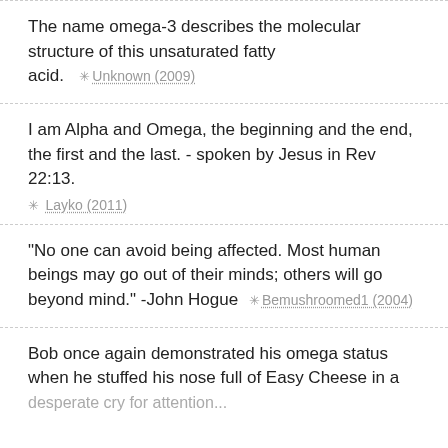The name omega-3 describes the molecular structure of this unsaturated fatty acid.  ✳ Unknown (2009)
I am Alpha and Omega, the beginning and the end, the first and the last. - spoken by Jesus in Rev 22:13.  ✳ Layko (2011)
"No one can avoid being affected. Most human beings may go out of their minds; others will go beyond mind." -John Hogue  ✳ Bemushroomed1 (2004)
Bob once again demonstrated his omega status when he stuffed his nose full of Easy Cheese in a desperate cry for attention...